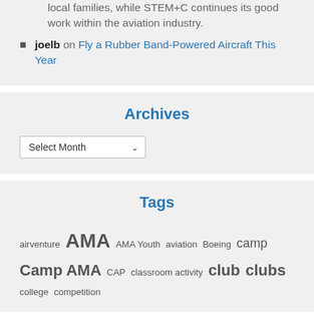local families, while STEM+C continues its good work within the aviation industry.
joelb on Fly a Rubber Band-Powered Aircraft This Year
Archives
Tags
airventure AMA AMA Youth aviation Boeing camp Camp AMA CAP classroom activity club clubs college competition